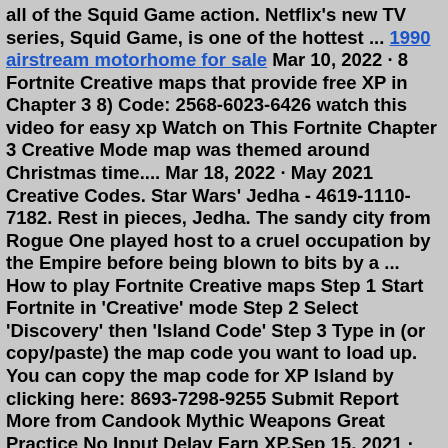all of the Squid Game action. Netflix's new TV series, Squid Game, is one of the hottest ... 1990 airstream motorhome for sale Mar 10, 2022 · 8 Fortnite Creative maps that provide free XP in Chapter 3 8) Code: 2568-6023-6426 watch this video for easy xp Watch on This Fortnite Chapter 3 Creative Mode map was themed around Christmas time.... Mar 18, 2022 · May 2021 Creative Codes. Star Wars' Jedha - 4619-1110-7182. Rest in pieces, Jedha. The sandy city from Rogue One played host to a cruel occupation by the Empire before being blown to bits by a ... How to play Fortnite Creative maps Step 1 Start Fortnite in 'Creative' mode Step 2 Select 'Discovery' then 'Island Code' Step 3 Type in (or copy/paste) the map code you want to load up. You can copy the map code for XP Island by clicking here: 8693-7298-9255 Submit Report More from Candook Mythic Weapons Great Practice No Input Delay Earn XP.Sep 15, 2021 · FREE XP FARM CHAPTER 2 SEASON 8 by xegee-btw Fortnite Creative Map Code. Use Island Code 0348-1033-4035-1 Pl...